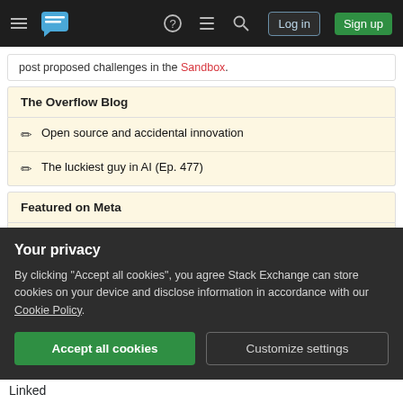Stack Overflow navigation bar with hamburger menu, logo, help, chat, search icons, Log in and Sign up buttons
post proposed challenges in the Sandbox.
The Overflow Blog
Open source and accidental innovation
The luckiest guy in AI (Ep. 477)
Featured on Meta
Recent site instability, major outages – July/August 2022
Please welcome Valued Associate #1301 – Emerson
Your privacy
By clicking "Accept all cookies", you agree Stack Exchange can store cookies on your device and disclose information in accordance with our Cookie Policy.
Accept all cookies  Customize settings
Linked